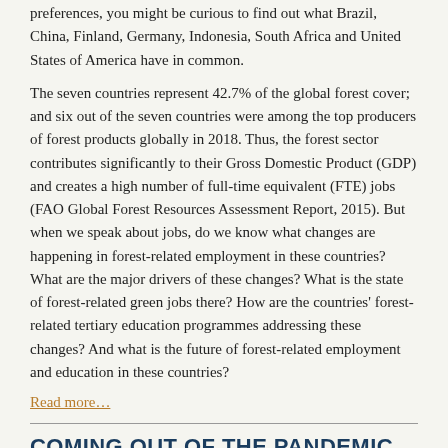preferences, you might be curious to find out what Brazil, China, Finland, Germany, Indonesia, South Africa and United States of America have in common.
The seven countries represent 42.7% of the global forest cover; and six out of the seven countries were among the top producers of forest products globally in 2018. Thus, the forest sector contributes significantly to their Gross Domestic Product (GDP) and creates a high number of full-time equivalent (FTE) jobs (FAO Global Forest Resources Assessment Report, 2015). But when we speak about jobs, do we know what changes are happening in forest-related employment in these countries? What are the major drivers of these changes? What is the state of forest-related green jobs there? How are the countries' forest-related tertiary education programmes addressing these changes? And what is the future of forest-related employment and education in these countries?
Read more…
COMING OUT OF THE PANDEMIC BY INTERNING AT IUFRO TO TOP
Posted by theiufroblog in Guest Blog No Comments Tagged: 2021, forest conservation, forestry, internship, landscape restoration
COMING OUT OF THE PANDEMIC BY